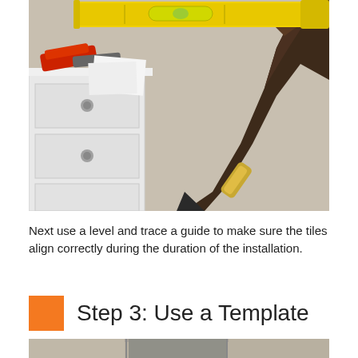[Figure (photo): A person's hand holding a yellow spirit level against a white wall, with a white dresser with tools on top visible in the background.]
Next use a level and trace a guide to make sure the tiles align correctly during the duration of the installation.
Step 3: Use a Template
[Figure (photo): Partial view of another installation step photo at the bottom of the page.]